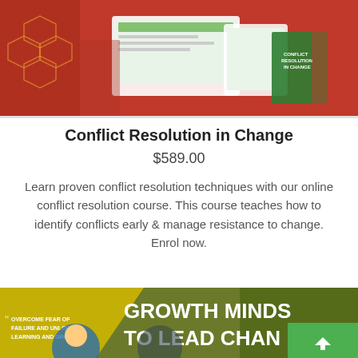[Figure (photo): Promotional banner image for Conflict Resolution in Change course showing devices, course materials, and people on a red background]
Conflict Resolution in Change
$589.00
Learn proven conflict resolution techniques with our online conflict resolution course. This course teaches how to identify conflicts early & manage resistance to change. Enrol now.
VIEW NOW
[Figure (photo): Growth Mindset to Lead Change course banner with text 'Overcome fear of failure and unlock learning and growth' on an olive/yellow background with a person and circular imagery]